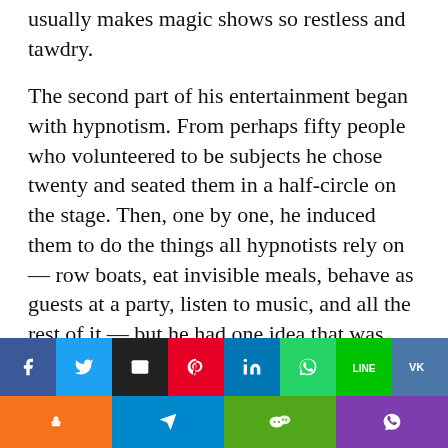usually makes magic shows so restless and tawdry.
The second part of his entertainment began with hypnotism. From perhaps fifty people who volunteered to be subjects he chose twenty and seated them in a half-circle on the stage. Then, one by one, he induced them to do the things all hypnotists rely on — row boats, eat invisible meals, behave as guests at a party, listen to music, and all the rest of it — but he had one idea that was new to me; he told a serious-looking man of middle age that he had just been awarded the Nobel Prize and asked him to make a speech of acceptance. The man did so, with such dignity and
[Figure (infographic): Social media sharing buttons row 1: Facebook (blue), Twitter (blue), Email (black), Pinterest (red), LinkedIn (blue), WhatsApp (green), Line (green), VK (blue)]
[Figure (infographic): Social media sharing buttons row 2: Odnoklassniki (orange), Telegram (blue), WeChat (green), Viber (purple)]